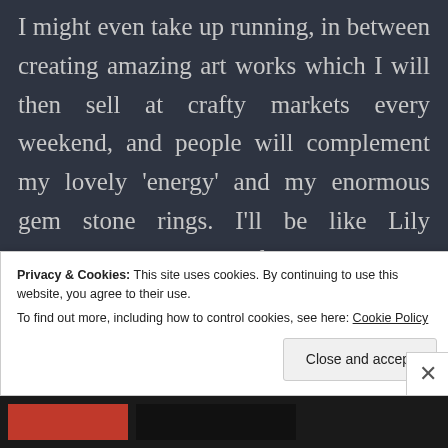I might even take up running, in between creating amazing art works which I will then sell at crafty markets every weekend, and people will complement my lovely 'energy' and my enormous gem stone rings. I'll be like Lily Tomlinson's character from 'Grace and Frankie', except more ethereal and not a stoner. And half her age. I'll have to fit the parenting thing around my new lifestyle of
Privacy & Cookies: This site uses cookies. By continuing to use this website, you agree to their use.
To find out more, including how to control cookies, see here: Cookie Policy
Close and accept